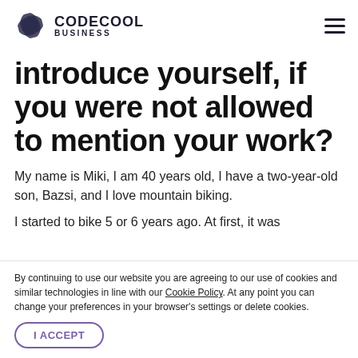CODECOOL BUSINESS
introduce yourself, if you were not allowed to mention your work?
My name is Miki, I am 40 years old, I have a two-year-old son, Bazsi, and I love mountain biking.
I started to bike 5 or 6 years ago. At first, it was
By continuing to use our website you are agreeing to our use of cookies and similar technologies in line with our Cookie Policy. At any point you can change your preferences in your browser's settings or delete cookies.
I ACCEPT